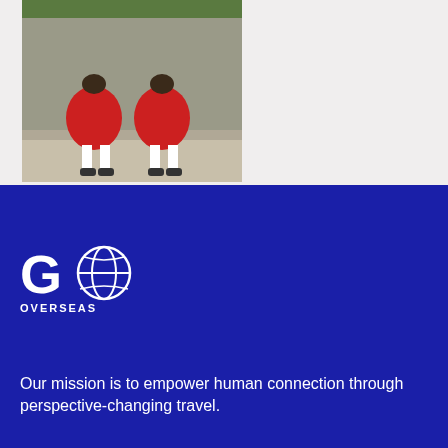[Figure (photo): Two children wearing red dresses and white stockings walking on a sidewalk near a stone wall]
[Figure (logo): Go Overseas logo — large 'GO' text with a globe replacing the 'O', and 'OVERSEAS' in small caps beneath]
Our mission is to empower human connection through perspective-changing travel.
SUBSCRIBE TO THE NEWSLETTER
Your Email Address
Subscribe
COMPANY
PROVIDERS
COMMUNITY